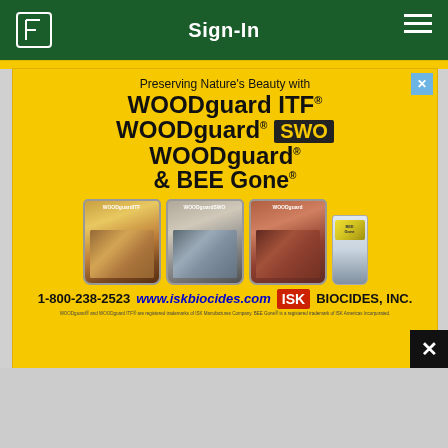Sign-In
[Figure (illustration): Yellow advertisement banner for ISK Biocides woodguard products: WOODguard ITF, WOODguard SWO, WOODguard, and BEE Gone. Shows three product buckets and a bottle. Phone: 1-800-238-2523, website: www.iskbiocides.com. Tagline: Preserving Nature's Beauty with WOODguard ITF WOODguard SWO WOODguard & BEE Gone. ISK BIOCIDES, INC.]
[Figure (photo): Partial photo of what appears to be a decorative stone or ceramic object with blue-green coloring, indoors.]